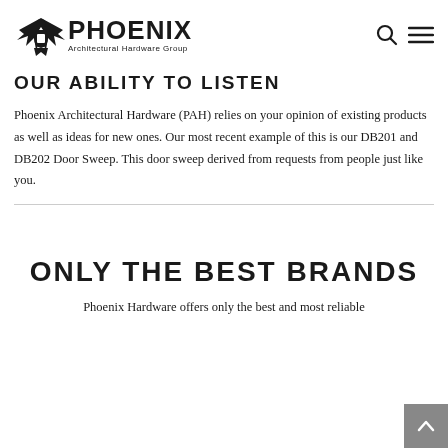PHOENIX Architectural Hardware Group
OUR ABILITY TO LISTEN
Phoenix Architectural Hardware (PAH) relies on your opinion of existing products as well as ideas for new ones. Our most recent example of this is our DB201 and DB202 Door Sweep. This door sweep derived from requests from people just like you.
ONLY THE BEST BRANDS
Phoenix Hardware offers only the best and most reliable